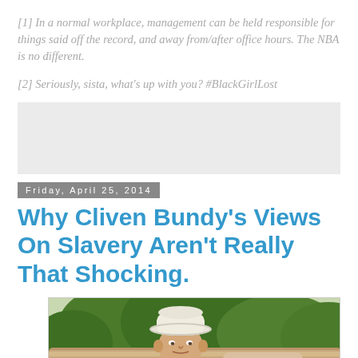[1] In a normal workplace, management can be held responsible for things said off the record, and away from/after office hours. The NBA is no different.
[2] Seriously, sista, what's up with you? #BlackGirlLost
[Figure (other): Gray advertisement/placeholder block]
Friday, April 25, 2014
Why Cliven Bundy's Views On Slavery Aren't Really That Shocking.
[Figure (photo): Photo of Cliven Bundy, an older man wearing a white cowboy hat and light blue striped shirt, leaning on a wooden fence with green trees in the background and an American flag visible.]